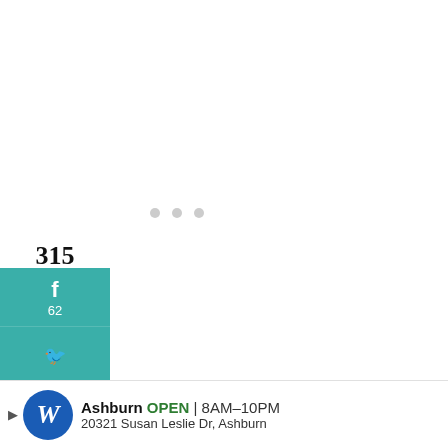315
SHARES
[Figure (screenshot): Social sharing sidebar with Facebook (62), Twitter, Pinterest (253), Reddit buttons in teal color]
[Figure (screenshot): Heart/like button showing 321 and share button on right side]
From personal experience, I will say don't buy anything blue. It blends with p... and makes your kids harder to spot in an instant.
[Figure (screenshot): What's Next panel showing thumbnail and text 'How To Stop A Toddler Fro...']
[Figure (screenshot): Walgreens advertisement banner: Ashburn OPEN 8AM-10PM, 20321 Susan Leslie Dr, Ashburn]